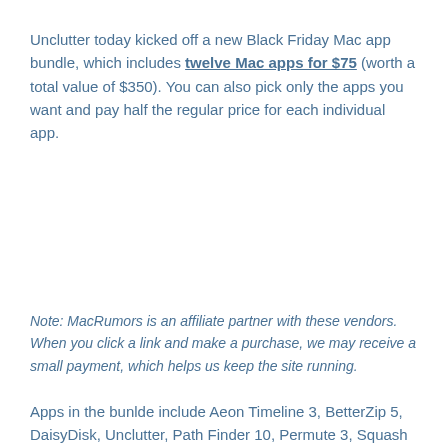Unclutter today kicked off a new Black Friday Mac app bundle, which includes twelve Mac apps for $75 (worth a total value of $350). You can also pick only the apps you want and pay half the regular price for each individual app.
Note: MacRumors is an affiliate partner with these vendors. When you click a link and make a purchase, we may receive a small payment, which helps us keep the site running.
Apps in the bunlde include Aeon Timeline 3, BetterZip 5, DaisyDisk, Unclutter, Path Finder 10, Permute 3, Squash 3,